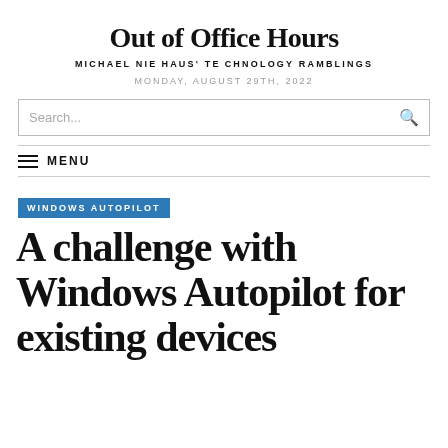Out of Office Hours
MICHAEL NIEHAUS' TECHNOLOGY RAMBLINGS
MONDAY, AUGUST 29TH, 2022
Search...
MENU
WINDOWS AUTOPILOT
A challenge with Windows Autopilot for existing devices